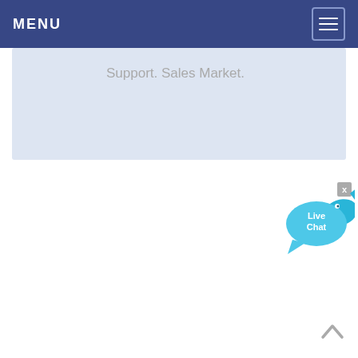MENU
Support. Sales Market.
[Figure (illustration): Live Chat widget with speech bubble icon and close button (x)]
[Figure (illustration): Scroll-to-top arrow button at bottom right]